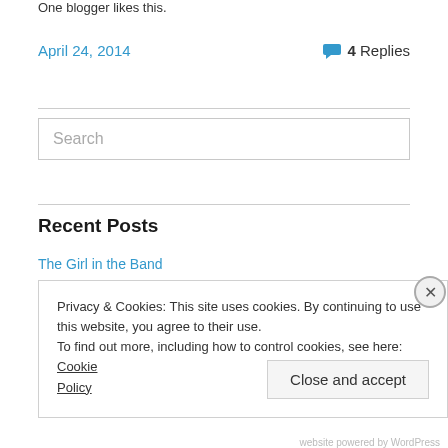One blogger likes this.
April 24, 2014   💬 4 Replies
[Figure (other): Search input box with placeholder text 'Search']
Recent Posts
The Girl in the Band
Privacy & Cookies: This site uses cookies. By continuing to use this website, you agree to their use. To find out more, including how to control cookies, see here: Cookie Policy
Close and accept